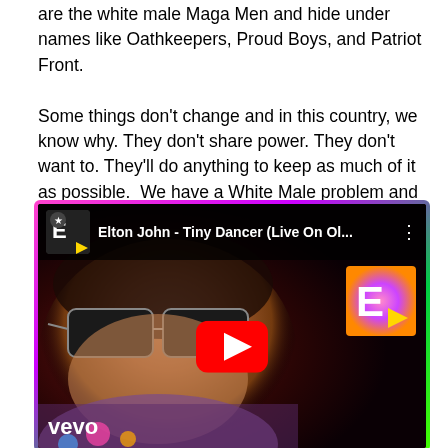are the white male Maga Men and hide under names like Oathkeepers, Proud Boys, and Patriot Front.

Some things don't change and in this country, we know why. They don't share power. They don't want to. They'll do anything to keep as much of it as possible.  We have a White Male problem and it's mostly got the face of an extreme patriarchal take of Christianity.
[Figure (screenshot): YouTube video thumbnail for Elton John - Tiny Dancer (Live On Ol...) showing Elton John wearing sunglasses with Vevo branding and YouTube play button overlay]